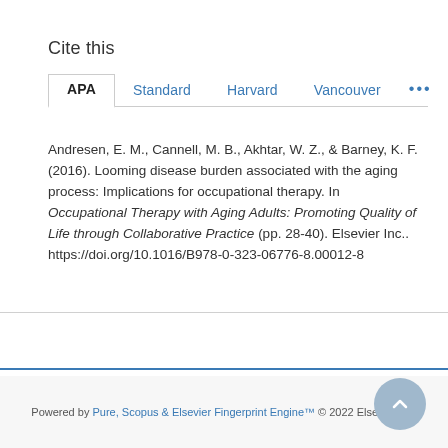Cite this
APA | Standard | Harvard | Vancouver | ...
Andresen, E. M., Cannell, M. B., Akhtar, W. Z., & Barney, K. F. (2016). Looming disease burden associated with the aging process: Implications for occupational therapy. In Occupational Therapy with Aging Adults: Promoting Quality of Life through Collaborative Practice (pp. 28-40). Elsevier Inc.. https://doi.org/10.1016/B978-0-323-06776-8.00012-8
Powered by Pure, Scopus & Elsevier Fingerprint Engine™ © 2022 Elsevier B.V